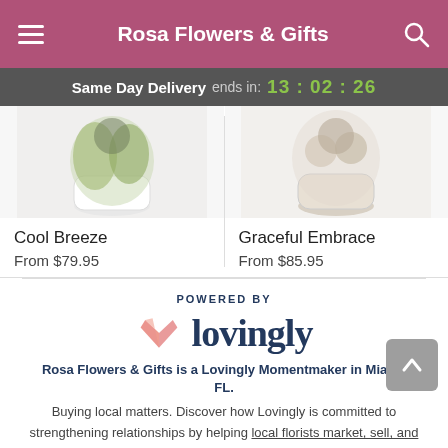Rosa Flowers & Gifts
Same Day Delivery ends in: 13 : 02 : 26
[Figure (photo): Product photo of Cool Breeze plant arrangement in white pot]
Cool Breeze
From $79.95
[Figure (photo): Product photo of Graceful Embrace arrangement in beige/stone pot]
Graceful Embrace
From $85.95
POWERED BY
[Figure (logo): Lovingly logo with pink/red heart book icon and dark blue wordmark 'lovingly']
Rosa Flowers & Gifts is a Lovingly Momentmaker in Miami, FL.
Buying local matters. Discover how Lovingly is committed to strengthening relationships by helping local florists market, sell, and deliver their floral designs online.